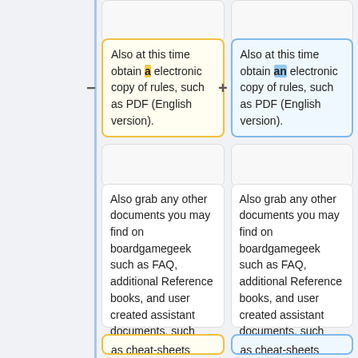(top partial cells, content cut off)
Also at this time obtain a electronic copy of rules, such as PDF (English version).
Also at this time obtain an electronic copy of rules, such as PDF (English version).
(plain cells, content cut off)
Also grab any other documents you may find on boardgamegeek such as FAQ, additional Reference books, and user created assistant documents, such
Also grab any other documents you may find on boardgamegeek such as FAQ, additional Reference books, and user created assistant documents, such
as cheat-sheets (may be easier to
as cheat-sheets (may be easier to